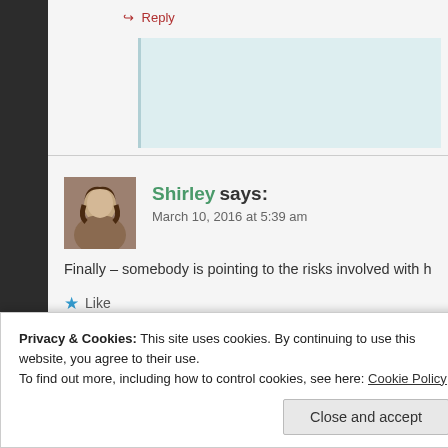Reply
Shirley says:
March 10, 2016 at 5:39 am
Finally – somebody is pointing to the risks involved with hot y
Like
Reply
Privacy & Cookies: This site uses cookies. By continuing to use this website, you agree to their use.
To find out more, including how to control cookies, see here: Cookie Policy
Close and accept